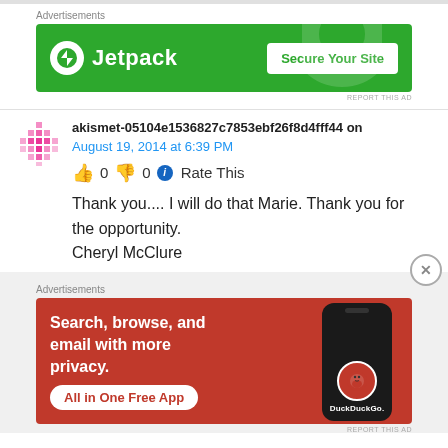[Figure (screenshot): Jetpack advertisement banner: green background with Jetpack logo and 'Secure Your Site' button]
akismet-05104e1536827c7853ebf26f8d4fff44 on August 19, 2014 at 6:39 PM
👍 0 👎 0 ℹ Rate This
Thank you.... I will do that Marie. Thank you for the opportunity.
Cheryl McClure
[Figure (screenshot): DuckDuckGo advertisement banner: red/orange background with 'Search, browse, and email with more privacy. All in One Free App' text and phone mockup with DuckDuckGo logo]